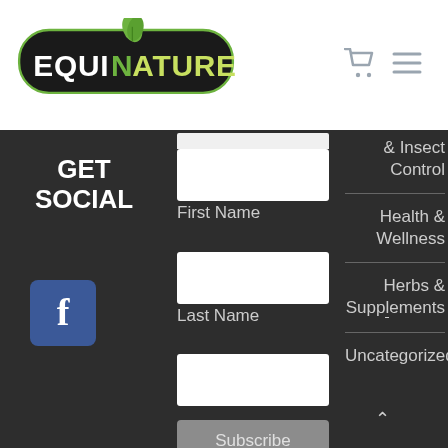[Figure (logo): EquiNature logo — black pill-shaped background with green leaf, white and green EQUINATURE text]
[Figure (infographic): Shopping cart icon and hamburger menu icon in grey, top right of header]
GET SOCIAL
[Figure (logo): Facebook icon — blue square with white 'f' letter]
First Name
Last Name
Subscribe
& Insect Control
Health & Wellness
Herbs & Supplements
Uncategorized